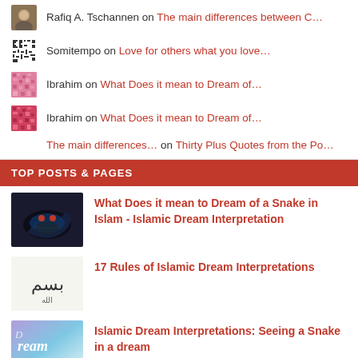Rafiq A. Tschannen on The main differences between C...
Somitempo on Love for others what you love...
Ibrahim on What Does it mean to Dream of...
Ibrahim on What Does it mean to Dream of...
The main differences... on Thirty Plus Quotes from the Po...
TOP POSTS & PAGES
What Does it mean to Dream of a Snake in Islam - Islamic Dream Interpretation
17 Rules of Islamic Dream Interpretations
Islamic Dream Interpretations: Seeing a Snake in a dream